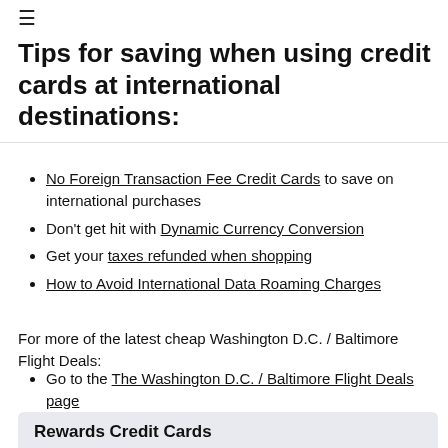≡
Tips for saving when using credit cards at international destinations:
No Foreign Transaction Fee Credit Cards to save on international purchases
Don't get hit with Dynamic Currency Conversion
Get your taxes refunded when shopping
How to Avoid International Data Roaming Charges
For more of the latest cheap Washington D.C. / Baltimore Flight Deals:
Go to the The Washington D.C. / Baltimore Flight Deals page
Rewards Credit Cards